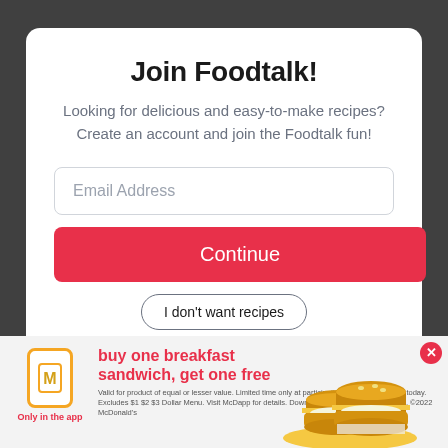Join Foodtalk!
Looking for delicious and easy-to-make recipes? Create an account and join the Foodtalk fun!
Email Address
Continue
I don't want recipes
Already a member? Log in
[Figure (infographic): McDonald's advertisement banner: buy one breakfast sandwich, get one free. Only in the app. Shows two egg McMuffin-style sandwiches, McDonald's golden arches logo in a phone icon, and fine print about validity.]
buy one breakfast sandwich, get one free
Valid for product of equal or lesser value. Limited time only at participating McDonald's. Valid today. Excludes $1 $2 $3 Dollar Menu. Visit McDapp for details. Download and registration required. ©2022 McDonald's